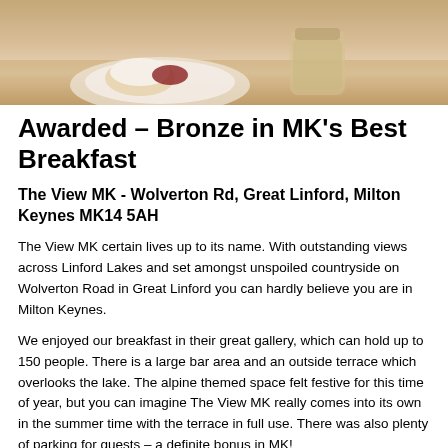[Figure (photo): Top portion of a food photo showing what appears to be breakfast items on a plate/dish on a wooden table, with a jar visible in the background.]
Awarded – Bronze in MK's Best Breakfast
The View MK - Wolverton Rd, Great Linford, Milton Keynes MK14 5AH
The View MK certain lives up to its name. With outstanding views across Linford Lakes and set amongst unspoiled countryside on Wolverton Road in Great Linford you can hardly believe you are in Milton Keynes.
We enjoyed our breakfast in their great gallery, which can hold up to 150 people. There is a large bar area and an outside terrace which overlooks the lake. The alpine themed space felt festive for this time of year, but you can imagine The View MK really comes into its own in the summer time with the terrace in full use. There was also plenty of parking for guests – a definite bonus in MK!
The breakfast
[Figure (photo): A photo showing what appears to be a breakfast dish or drink, with blue/light tones suggesting a bright interior setting.]